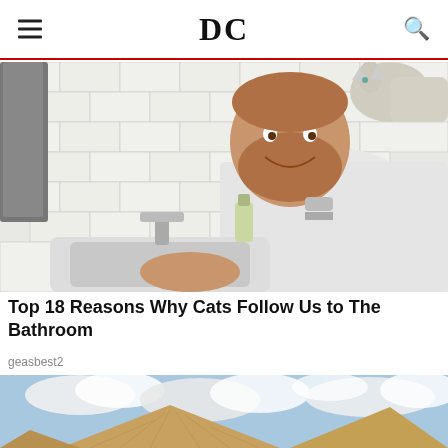DC
[Figure (photo): A smiling bearded man in a white long-sleeve shirt washing hands at a white subway-tiled bathroom sink, with a cat perched on his back/shoulder]
Top 18 Reasons Why Cats Follow Us to The Bathroom
geasbest2
[Figure (photo): Rooftops of wooden houses with blue cloudy sky in the background]